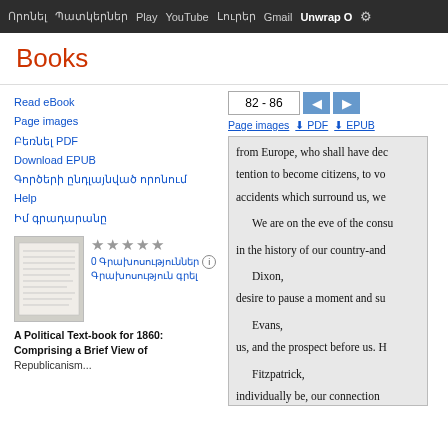Որոնել  Պատկերներ  Play  YouTube  Լուրեր  Gmail  Unwrap  O  [settings]
Books
Read eBook
Page images
Բեռնել PDF
Download EPUB
Գործերի ընդլայնված որոնում
Help
Իմ գրադարանը
★★★★★
0 Գրախոսություններ [i]
Գրախոսություն գրել
A Political Text-book for 1860:
Comprising a Brief View of
Republicanism...
82 - 86
Page images  ⬇ PDF  ⬇ EPUB
from Europe, who shall have dec
tention to become citizens, to vo
accidents which surround us, we

We are on the eve of the consu

in the history of our country-and

Dixon,

desire to pause a moment and su

Evans,

us, and the prospect before us. H

Fitzpatrick,

individually be, our connection